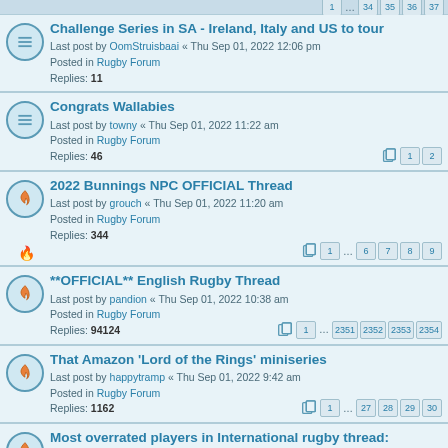1 ... 34 35 36 37
Challenge Series in SA - Ireland, Italy and US to tour
Last post by OomStruisbaai « Thu Sep 01, 2022 12:06 pm
Posted in Rugby Forum
Replies: 11
Congrats Wallabies
Last post by towny « Thu Sep 01, 2022 11:22 am
Posted in Rugby Forum
Replies: 46
Pages: 1 2
2022 Bunnings NPC OFFICIAL Thread
Last post by grouch « Thu Sep 01, 2022 11:20 am
Posted in Rugby Forum
Replies: 344
Pages: 1 ... 6 7 8 9
**OFFICIAL** English Rugby Thread
Last post by pandion « Thu Sep 01, 2022 10:38 am
Posted in Rugby Forum
Replies: 94124
Pages: 1 ... 2351 2352 2353 2354
That Amazon 'Lord of the Rings' miniseries
Last post by happytramp « Thu Sep 01, 2022 9:42 am
Posted in Rugby Forum
Replies: 1162
Pages: 1 ... 27 28 29 30
Most overrated players in International rugby thread:
Last post by jdogscoop « Thu Sep 01, 2022 9:30 am
Posted in Rugby Forum
Replies: 403
Pages: 1 ... 8 9 10 11
The Official Welsh Rugby Thread